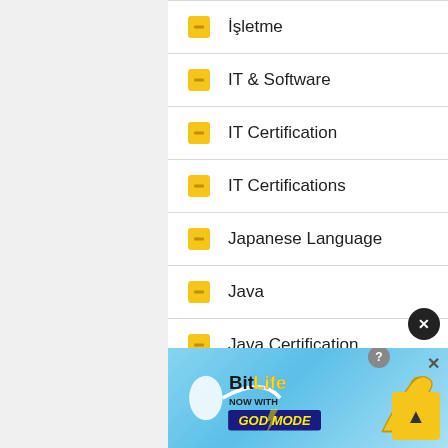İşletme
IT & Software
IT Certification
IT Certifications
Japanese Language
Java
Java Certification
JavaScript
Jobs
[Figure (illustration): BitLife mobile game advertisement banner with 'BitLife NOW WITH GOD MODE' text on blue background with hand pointing gesture, help and close buttons]